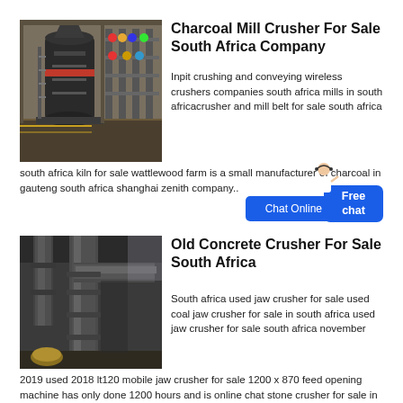[Figure (photo): Industrial charcoal mill crusher machinery inside a factory/warehouse]
Charcoal Mill Crusher For Sale South Africa Company
Inpit crushing and conveying wireless crushers companies south africa mills in south africacrusher and mill belt for sale south africa south africa kiln for sale wattlewood farm is a small manufacturer of charcoal in gauteng south africa shanghai zenith company..
[Figure (photo): Old concrete crusher industrial machinery with pipes and ducts in a facility]
Old Concrete Crusher For Sale South Africa
South africa used jaw crusher for sale used coal jaw crusher for sale in south africa used jaw crusher for sale south africa november 2019 used 2018 lt120 mobile jaw crusher for sale 1200 x 870 feed opening machine has only done 1200 hours and is online chat stone crusher for sale in south africa view more